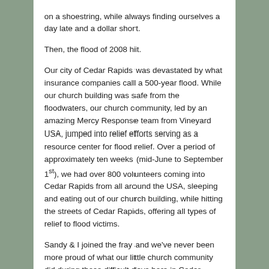on a shoestring, while always finding ourselves a day late and a dollar short.
Then, the flood of 2008 hit.
Our city of Cedar Rapids was devastated by what insurance companies call a 500-year flood. While our church building was safe from the floodwaters, our church community, led by an amazing Mercy Response team from Vineyard USA, jumped into relief efforts serving as a resource center for flood relief. Over a period of approximately ten weeks (mid-June to September 1st), we had over 800 volunteers coming into Cedar Rapids from all around the USA, sleeping and eating out of our church building, while hitting the streets of Cedar Rapids, offering all types of relief to flood victims.
Sandy & I joined the fray and we've never been more proud of what our little church community did during those difficult days here in Cedar Rapids. By Labor Day, 2008, we were working alongside Mercy Response to put together a longer-term relief project for our city...